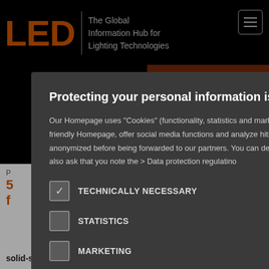[Figure (screenshot): Background: LED journal website header with orange LED logo, tagline 'The Global Information Hub for Lighting Technologies', hamburger menu icon, dark red banner with 'NOW A WEB' text, and white page content below]
Protecting your personal information is important to us
Our Homepage uses "Cookies" (functionality, statistics and marketing cookies) in order to create a user friendly Homepage, offer social media functions and analyze hits. When necessary, information is anonymized before being forwarded to our partners. You can decide which cookies you want to allow. We also ask that you note the > Data protection regulatino
TECHNICALLY NECESSARY (checked)
STATISTICS (unchecked)
MARKETING (unchecked)
FUNCTIONALITY (unchecked)